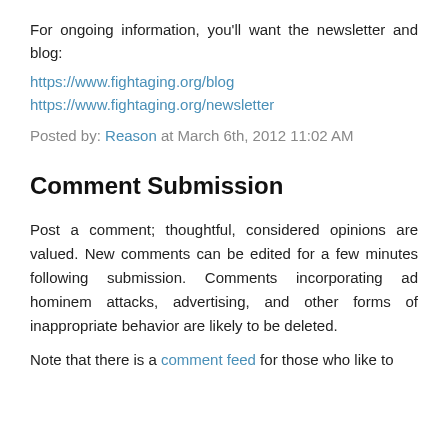For ongoing information, you'll want the newsletter and blog:
https://www.fightaging.org/blog
https://www.fightaging.org/newsletter
Posted by: Reason at March 6th, 2012 11:02 AM
Comment Submission
Post a comment; thoughtful, considered opinions are valued. New comments can be edited for a few minutes following submission. Comments incorporating ad hominem attacks, advertising, and other forms of inappropriate behavior are likely to be deleted.
Note that there is a comment feed for those who like to